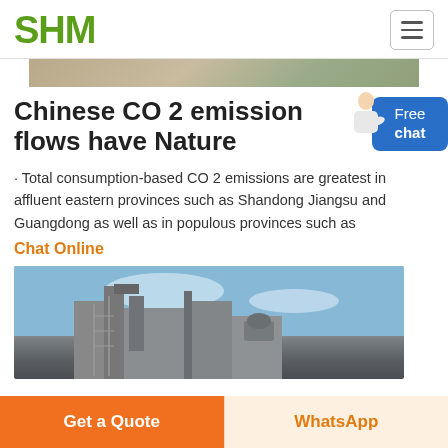SHM
[Figure (photo): Partial top image of an outdoor industrial or mining scene]
Chinese CO 2 emission flows have Nature
· Total consumption-based CO 2 emissions are greatest in affluent eastern provinces such as Shandong Jiangsu and Guangdong as well as in populous provinces such as
Chat Online
[Figure (photo): Industrial factory building with scaffolding and machinery against a blue sky]
Get a Quote
WhatsApp